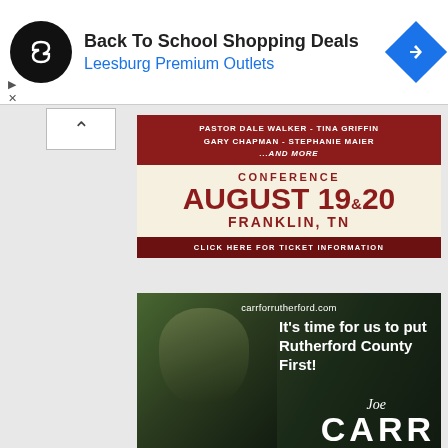[Figure (screenshot): Advertisement banner: black circular logo with infinity-like arrows symbol, text 'Back To School Shopping Deals' and 'Leesburg Premium Outlets' in blue, blue diamond navigation icon on right]
[Figure (screenshot): Conference advertisement banner. Red top section listing 'PASTOR DALE WALKER - TINA GRIFFIN / GARY CHAPMAN - STEPHANIE MAIER / ...AND MORE'. Cream middle section: 'CONFERENCE / AUGUST 19 & 20 / FRANKLIN, TN'. Dark red bottom: 'CLICK HERE FOR TICKET INFORMATION']
[Figure (screenshot): Joe Carr political advertisement. Dark forest background with man in hat. Text: 'carrforrutherford.com', 'It's time for us to put Rutherford County First!', 'Joe CARR' signature and name]